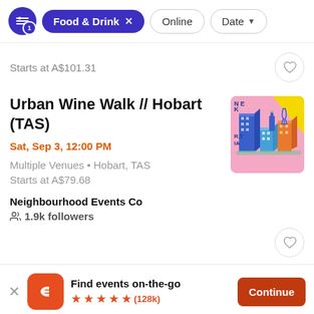Food & Drink   Online   Date
Starts at A$101.31
Urban Wine Walk // Hobart (TAS)
Sat, Sep 3, 12:00 PM
Multiple Venues • Hobart, TAS
Starts at A$79.68
Neighbourhood Events Co
1.9k followers
[Figure (illustration): Event thumbnail showing isometric illustration of city buildings with wine bottle and glass on pink and yellow background]
Find events on-the-go  ★★★★★ (128k)  Continue